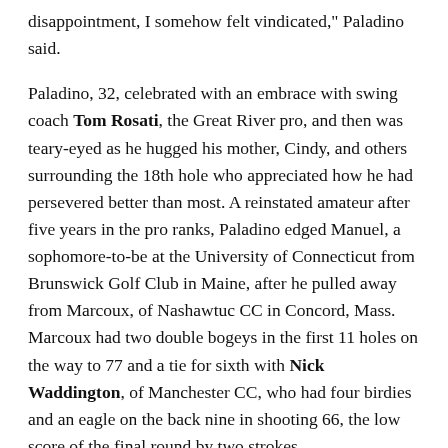disappointment, I somehow felt vindicated," Paladino said.
Paladino, 32, celebrated with an embrace with swing coach Tom Rosati, the Great River pro, and then was teary-eyed as he hugged his mother, Cindy, and others surrounding the 18th hole who appreciated how he had persevered better than most. A reinstated amateur after five years in the pro ranks, Paladino edged Manuel, a sophomore-to-be at the University of Connecticut from Brunswick Golf Club in Maine, after he pulled away from Marcoux, of Nashawtuc CC in Concord, Mass. Marcoux had two double bogeys in the first 11 holes on the way to 77 and a tie for sixth with Nick Waddington, of Manchester CC, who had four birdies and an eagle on the back nine in shooting 66, the low score of the final round by two strokes.